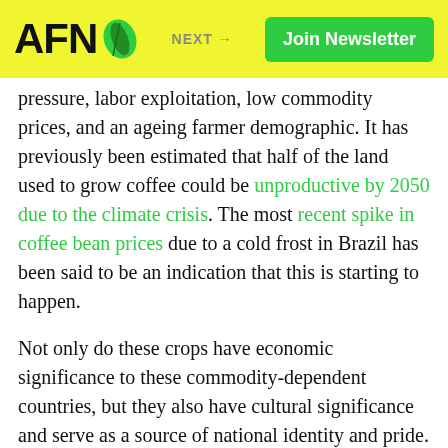AFN | NEXT → | Join Newsletter
pressure, labor exploitation, low commodity prices, and an ageing farmer demographic. It has previously been estimated that half of the land used to grow coffee could be unproductive by 2050 due to the climate crisis. The most recent spike in coffee bean prices due to a cold frost in Brazil has been said to be an indication that this is starting to happen.
Not only do these crops have economic significance to these commodity-dependent countries, but they also have cultural significance and serve as a source of national identity and pride. As someone with East African heritage, coffee is integral to my culture.